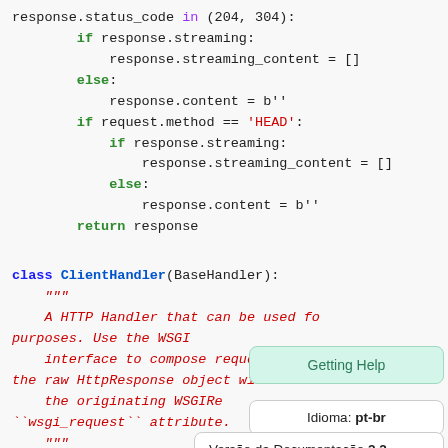[Figure (screenshot): Python source code snippet showing conditional logic for response handling and a ClientHandler class definition with docstring, overlaid with Django documentation popup bubbles: 'Getting Help', 'Idioma: pt-br', 'Versão da Documentação 2.2']